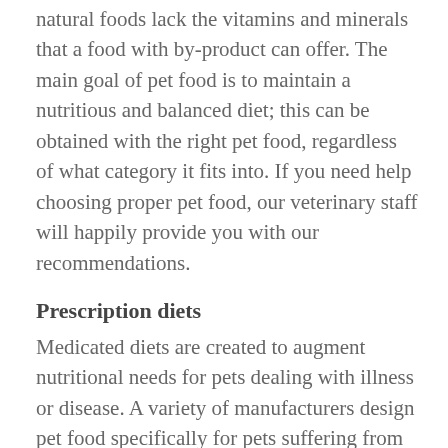natural foods lack the vitamins and minerals that a food with by-product can offer. The main goal of pet food is to maintain a nutritious and balanced diet; this can be obtained with the right pet food, regardless of what category it fits into. If you need help choosing proper pet food, our veterinary staff will happily provide you with our recommendations.
Prescription diets
Medicated diets are created to augment nutritional needs for pets dealing with illness or disease. A variety of manufacturers design pet food specifically for pets suffering from allergies, arthritis, diabetes, kidney disease, liver disease, pancreatitis, and more. If you think a medicated diet would benefit your pet, contact our office today.
Supplements
[Figure (illustration): Pink square icon with a white paw print in the center]
As your pet ages their need for phosphorus, sodium, calcium,